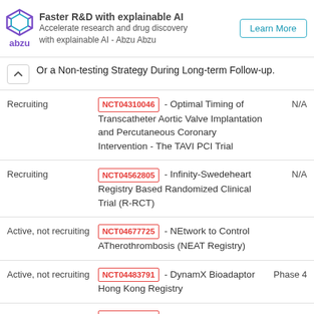[Figure (other): Abzu ad banner: logo with geometric diamond shape and 'abzu' text, headline 'Faster R&D with explainable AI', subtext 'Accelerate research and drug discovery with explainable AI - Abzu Abzu', and a 'Learn More' button]
Or a Non-testing Strategy During Long-term Follow-up.
| Status | Trial | Phase |
| --- | --- | --- |
| Recruiting | NCT04310046 - Optimal Timing of Transcatheter Aortic Valve Implantation and Percutaneous Coronary Intervention - The TAVI PCI Trial | N/A |
| Recruiting | NCT04562805 - Infinity-Swedeheart Registry Based Randomized Clinical Trial (R-RCT) | N/A |
| Active, not recruiting | NCT04677725 - NEtwork to Control ATherothrombosis (NEAT Registry) |  |
| Active, not recruiting | NCT04483791 - DynamX Bioadaptor Hong Kong Registry | Phase 4 |
| Completed | NCT04375085 - DESyne X2 Post | N/A |